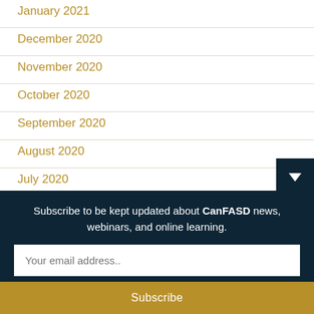January 2021
December 2020
November 2020
October 2020
September 2020
August 2020
July 2020
June 2020
Subscribe to be kept updated about CanFASD news, webinars, and online learning.
Your email address..
Subscribe